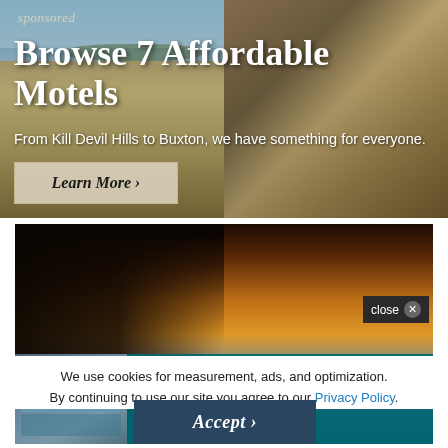[Figure (photo): Sponsored banner ad showing a beach scene on the left and a wooden deck/balcony on the right, serving as background for motel advertisement]
sponsored
Browse 7 Affordable Motels
From Kill Devil Hills to Buxton, we have something for everyone.
Learn More ›
[Figure (photo): Advertisement image showing a pier/sunset scene background with Village Realty overlay ad. Contains close button, thumbnail of a property with pool, and text 'Village Realty—Find Your Happy BROWSE OUR 700+ RENTALS ›']
close ✕
Village Realty—Find Your Happy
BROWSE OUR 700+ RENTALS ›
We use cookies for measurement, ads, and optimization.
By continuing to use our site you agree to our Privacy Policy.
Accept ›